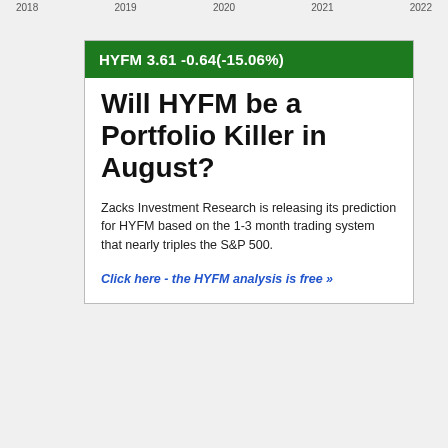2018    2019    2020    2021    2022
HYFM 3.61 -0.64(-15.06%)
Will HYFM be a Portfolio Killer in August?
Zacks Investment Research is releasing its prediction for HYFM based on the 1-3 month trading system that nearly triples the S&P 500.
Click here - the HYFM analysis is free »